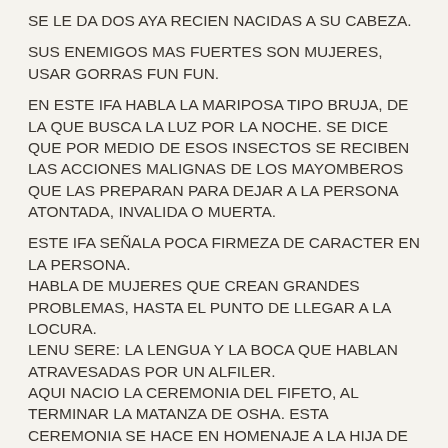SE LE DA DOS AYA RECIEN NACIDAS A SU CABEZA.
SUS ENEMIGOS MAS FUERTES SON MUJERES, USAR GORRAS FUN FUN.
EN ESTE IFA HABLA LA MARIPOSA TIPO BRUJA, DE LA QUE BUSCA LA LUZ POR LA NOCHE. SE DICE QUE POR MEDIO DE ESOS INSECTOS SE RECIBEN LAS ACCIONES MALIGNAS DE LOS MAYOMBEROS QUE LAS PREPARAN PARA DEJAR A LA PERSONA ATONTADA, INVALIDA O MUERTA.
ESTE IFA SEÑALA POCA FIRMEZA DE CARACTER EN LA PERSONA.
HABLA DE MUJERES QUE CREAN GRANDES PROBLEMAS, HASTA EL PUNTO DE LLEGAR A LA LOCURA.
LENU SERE: LA LENGUA Y LA BOCA QUE HABLAN ATRAVESADAS POR UN ALFILER.
AQUI NACIO LA CEREMONIA DEL FIFETO, AL TERMINAR LA MATANZA DE OSHA. ESTA CEREMONIA SE HACE EN HOMENAJE A LA HIJA DE OLOKUN TOSHE, POR EL RESPETO A SU PADRE, CUANDO OGGUN LA DECARITO. EN ESTE IFA NACIO LA